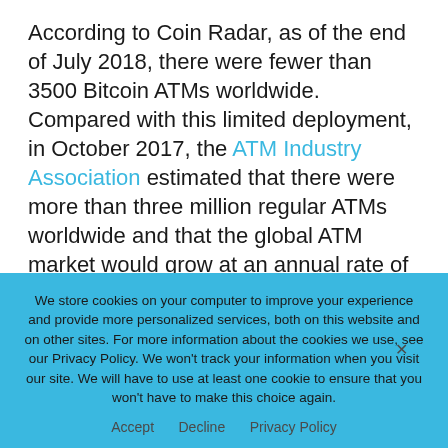According to Coin Radar, as of the end of July 2018, there were fewer than 3500 Bitcoin ATMs worldwide. Compared with this limited deployment, in October 2017, the ATM Industry Association estimated that there were more than three million regular ATMs worldwide and that the global ATM market would grow at an annual rate of 8% between 2017 and 2025 when it is expected to reach more than $30 billion.
We store cookies on your computer to improve your experience and provide more personalized services, both on this website and on other sites. For more information about the cookies we use, see our Privacy Policy. We won't track your information when you visit our site. We will have to use at least one cookie to ensure that you won't have to make this choice again.
Accept   Decline   Privacy Policy